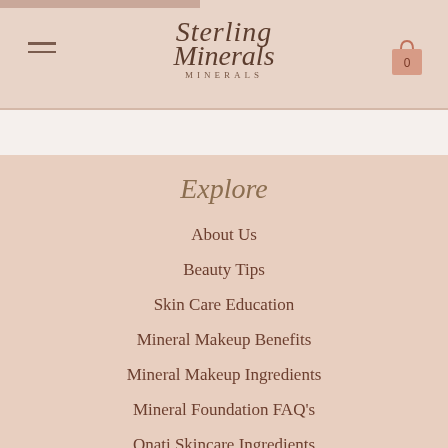Sterling Minerals — navigation header with hamburger menu and cart icon
Explore
About Us
Beauty Tips
Skin Care Education
Mineral Makeup Benefits
Mineral Makeup Ingredients
Mineral Foundation FAQ's
Onati Skincare Ingredients
Mineral Eyeshadow Tutorials
Minerals & Skincare Ingredient FAQ's
General Minerals, Skincare & Beauty FAQ's
Customers Reviews Of Sterling Minerals